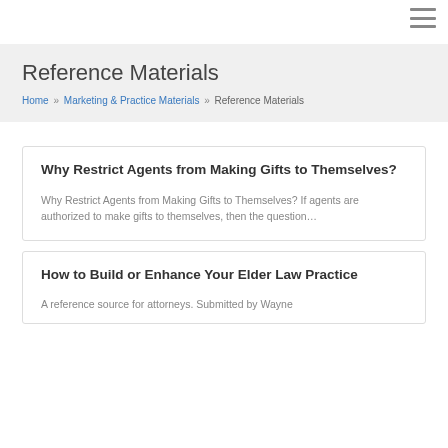≡
Reference Materials
Home » Marketing & Practice Materials » Reference Materials
Why Restrict Agents from Making Gifts to Themselves?
Why Restrict Agents from Making Gifts to Themselves? If agents are authorized to make gifts to themselves, then the question...
How to Build or Enhance Your Elder Law Practice
A reference source for attorneys. Submitted by Wayne